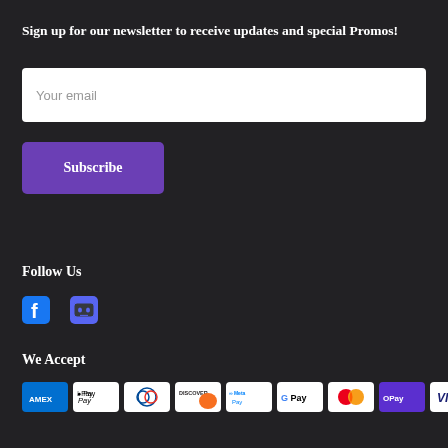Sign up for our newsletter to receive updates and special Promos!
[Figure (other): Email input field with placeholder text 'Your email']
[Figure (other): Purple Subscribe button]
Follow Us
[Figure (other): Facebook and Discord social media icons]
We Accept
[Figure (other): Payment method icons: AMEX, Apple Pay, Diners Club, Discover, Meta Pay, Google Pay, Mastercard, Samsung Pay (OPay), VISA]